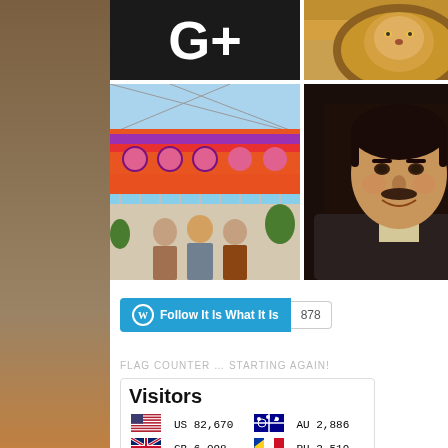[Figure (photo): Top-left photo: dark/black background with large white text characters visible]
[Figure (photo): Top-right photo: close-up of a lion's face]
[Figure (photo): Bottom-left photo: colorful carousel decoration with people underneath in a glass-roofed atrium]
[Figure (photo): Bottom-right photo: portrait of a middle-aged man with dark hair and mustache, smiling]
Follow It Is What It Is  878
FLAG COUNTER … STARTING AGAIN!
| Flag | Country | Count | Flag | Country | Count |
| --- | --- | --- | --- | --- | --- |
| [US flag] | US | 82,670 | [AU flag] | AU | 2,886 |
| [GB flag] | GB | 6,098 | [PH flag] | PH | 2,519 |
| [CA flag] | CA | 4,756 | [FR flag] | FR | 1,677 |